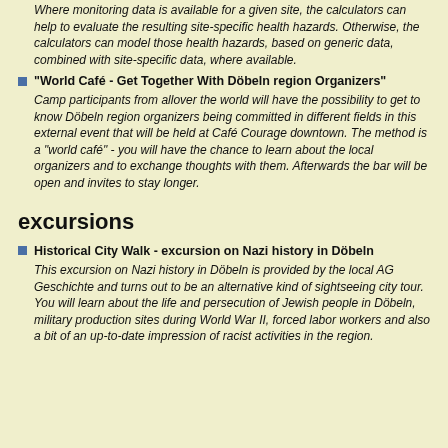Where monitoring data is available for a given site, the calculators can help to evaluate the resulting site-specific health hazards. Otherwise, the calculators can model those health hazards, based on generic data, combined with site-specific data, where available.
"World Café - Get Together With Döbeln region Organizers" Camp participants from allover the world will have the possibility to get to know Döbeln region organizers being committed in different fields in this external event that will be held at Café Courage downtown. The method is a "world café" - you will have the chance to learn about the local organizers and to exchange thoughts with them. Afterwards the bar will be open and invites to stay longer.
excursions
Historical City Walk - excursion on Nazi history in Döbeln This excursion on Nazi history in Döbeln is provided by the local AG Geschichte and turns out to be an alternative kind of sightseeing city tour. You will learn about the life and persecution of Jewish people in Döbeln, military production sites during World War II, forced labor workers and also a bit of an up-to-date impression of racist activities in the region.